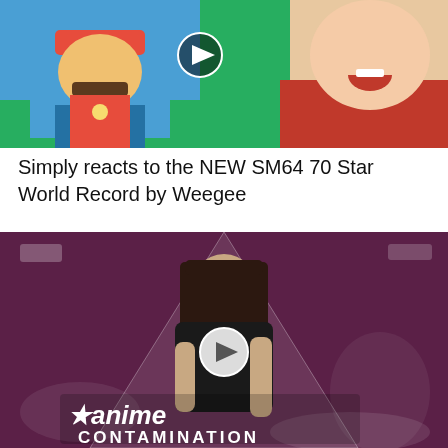[Figure (screenshot): Video thumbnail showing Mario character on left side with colorful background, and a person in red shirt laughing on right side with a play button icon in center]
Simply reacts to the NEW SM64 70 Star World Record by Weegee
[Figure (screenshot): Video thumbnail with purple/maroon background showing a woman in black dress standing in front of a triangle design with a play button, with text 'anime CONTAMINATION' at the bottom]